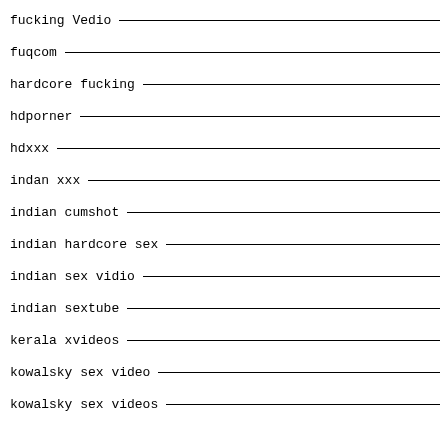fucking Vedio
fuqcom
hardcore fucking
hdporner
hdxxx
indan xxx
indian cumshot
indian hardcore sex
indian sex vidio
indian sextube
kerala xvideos
kowalsky sex video
kowalsky sex videos